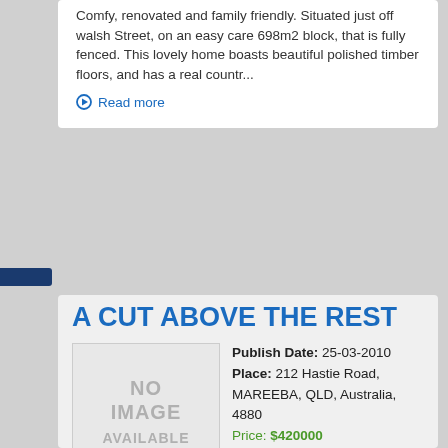Comfy, renovated and family friendly. Situated just off walsh Street, on an easy care 698m2 block, that is fully fenced. This lovely home boasts beautiful polished timber floors, and has a real countr...
Read more
A CUT ABOVE THE REST
Publish Date: 25-03-2010
Place: 212 Hastie Road, MAREEBA, QLD, Australia, 4880
Price: $420000
[Figure (other): No image available placeholder box]
A considerable amount of artistic flair has been put into the design and planning of this beautiful home. The result- A very special home with many special features has been created. Lets start with o...
Read more